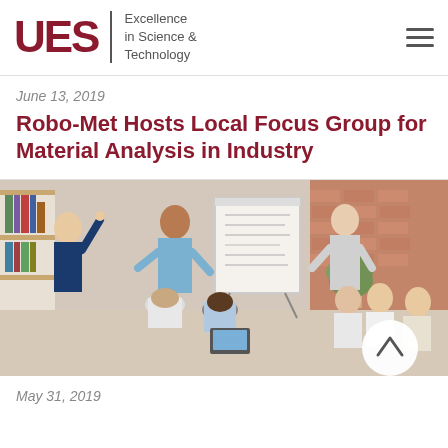UES | Excellence in Science & Technology
June 13, 2019
Robo-Met Hosts Local Focus Group for Material Analysis in Industry
[Figure (photo): Group of business professionals in a focus group meeting, with a presenter standing next to a whiteboard/flipchart. Several people are seated in a circle, smiling and engaged in discussion. Brick wall and bookshelves visible in background.]
May 31, 2019